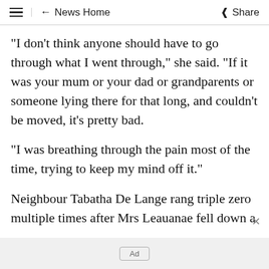≡  ← News Home  Share
"I don't think anyone should have to go through what I went through," she said. "If it was your mum or your dad or grandparents or someone lying there for that long, and couldn't be moved, it's pretty bad.
"I was breathing through the pain most of the time, trying to keep my mind off it."
Neighbour Tabatha De Lange rang triple zero multiple times after Mrs Leauanae fell down a
Ad